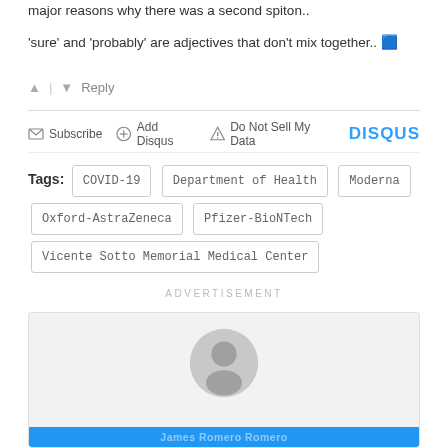major reasons why there was a second spiton..
'sure' and 'probably' are adjectives that don't mix together.. 🟦
▲ | ▼   Reply
✉ Subscribe   ⊙ Add Disqus   ▲ Do Not Sell My Data   DISQUS
Tags: COVID-19  Department of Health  Moderna  Oxford-AstraZeneca  Pfizer-BioNTech  Vicente Sotto Memorial Medical Center
ADVERTISEMENT
[Figure (illustration): Author avatar placeholder - grey circle with person silhouette icon inside a light grey card, with a blue bar at the bottom partially visible containing author name text]